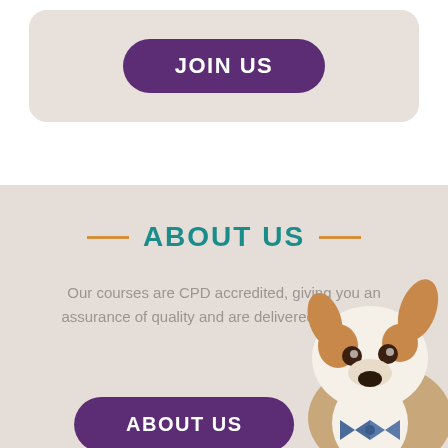[Figure (other): Rounded beige card with a purple JOIN US button]
ABOUT US
Our courses are CPD accredited, giving you an assurance of quality and are delivered throughou
[Figure (photo): Jack Russell Terrier dog wearing a bow tie, looking up with tilted head]
[Figure (other): Purple rounded button with ABOUT US text]